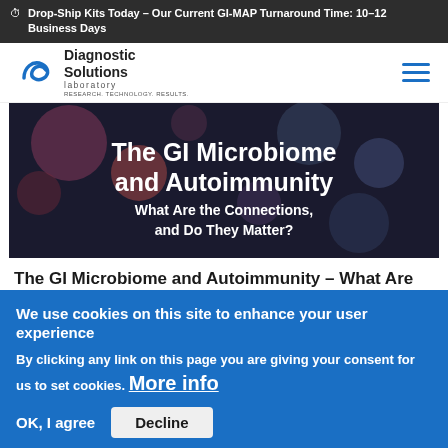Drop-Ship Kits Today – Our Current GI-MAP Turnaround Time: 10–12 Business Days
[Figure (logo): Diagnostic Solutions Laboratory logo – blue stylized snake/S icon with bold text 'Diagnostic Solutions laboratory' and tagline 'RESEARCH. TECHNOLOGY. RESULTS.']
[Figure (illustration): Hero banner image showing 'The GI Microbiome and Autoimmunity – What Are the Connections, and Do They Matter?' text overlaid on a dark background with microscopic imagery]
The GI Microbiome and Autoimmunity – What Are the Connections, and Do They Matter?
The gastrointestinal microbiome...
We use cookies on this site to enhance your user experience
By clicking any link on this page you are giving your consent for us to set cookies. More info